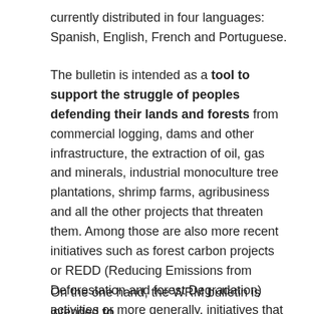currently distributed in four languages: Spanish, English, French and Portuguese.
The bulletin is intended as a tool to support the struggle of peoples defending their lands and forests from commercial logging, dams and other infrastructure, the extraction of oil, gas and minerals, industrial monoculture tree plantations, shrimp farms, agribusiness and all the other projects that threaten them. Among those are also more recent initiatives such as forest carbon projects or REDD (Reducing Emissions from Deforestation and forest Degradation) activities or more generally, initiatives that aim at putting a price on forests through so-called payments for "environmental services".
On the one hand, the WRM bulletin is intended to